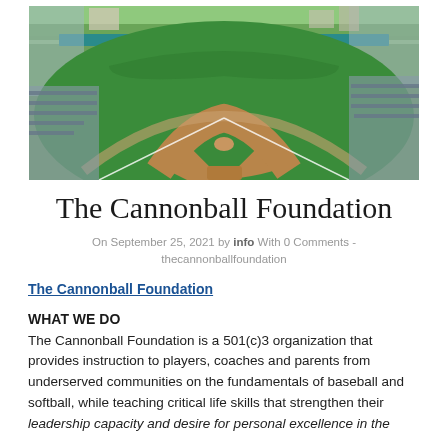[Figure (photo): Aerial/elevated view of a baseball stadium field with green grass diamond, dirt infield, and stadium seating visible in the background with trees and buildings.]
The Cannonball Foundation
On September 25, 2021 by info With 0 Comments - thecannonballfoundation
The Cannonball Foundation
WHAT WE DO
The Cannonball Foundation is a 501(c)3 organization that provides instruction to players, coaches and parents from underserved communities on the fundamentals of baseball and softball, while teaching critical life skills that strengthen their leadership capacity and desire for personal excellence in the